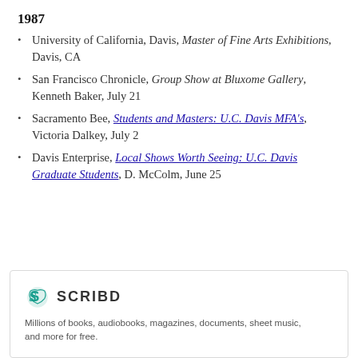1987
University of California, Davis, Master of Fine Arts Exhibitions, Davis, CA
San Francisco Chronicle, Group Show at Bluxome Gallery, Kenneth Baker, July 21
Sacramento Bee, Students and Masters: U.C. Davis MFA's, Victoria Dalkey, July 2
Davis Enterprise, Local Shows Worth Seeing: U.C. Davis Graduate Students, D. McColm, June 25
[Figure (logo): Scribd logo with teal icon and bold wordmark 'SCRIBD'. Below: 'Millions of books, audiobooks, magazines, documents, sheet music, and more for free.']